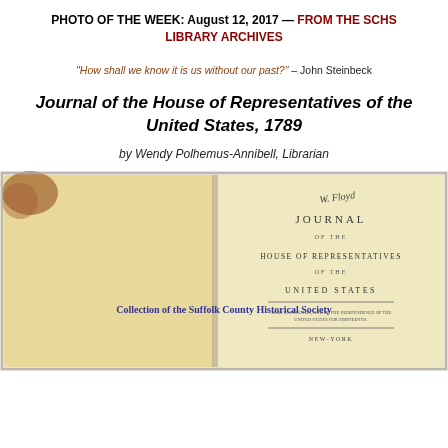PHOTO OF THE WEEK: August 12, 2017 — FROM THE SCHS LIBRARY ARCHIVES
"How shall we know it is us without our past?" – John Steinbeck
Journal of the House of Representatives of the United States, 1789
by Wendy Polhemus-Annibell, Librarian
[Figure (photo): Open antique book showing title page reading JOURNAL OF THE HOUSE OF REPRESENTATIVES OF THE UNITED STATES, with a handwritten signature at top and text 'Collection of the Suffolk County Historical Society' overlaid. The book appears yellowed and aged with rust-colored staining on the left page.]